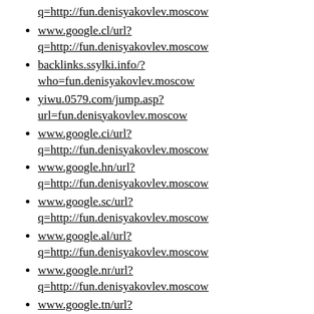q=http://fun.denisyakovlev.moscow
www.google.cl/url?q=http://fun.denisyakovlev.moscow
backlinks.ssylki.info/?who=fun.denisyakovlev.moscow
yiwu.0579.com/jump.asp?url=fun.denisyakovlev.moscow
www.google.ci/url?q=http://fun.denisyakovlev.moscow
www.google.hn/url?q=http://fun.denisyakovlev.moscow
www.google.sc/url?q=http://fun.denisyakovlev.moscow
www.google.al/url?q=http://fun.denisyakovlev.moscow
www.google.nr/url?q=http://fun.denisyakovlev.moscow
www.google.tn/url?q=http://fun.denisyakovlev.moscow